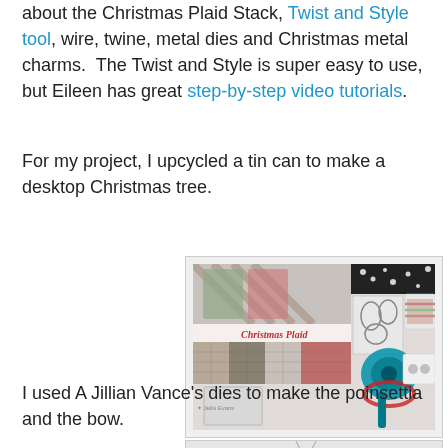about the Christmas Plaid Stack, Twist and Style tool, wire, twine, metal dies and Christmas metal charms. The Twist and Style is super easy to use, but Eileen has great step-by-step video tutorials.
For my project, I upcycled a tin can to make a desktop Christmas tree.
[Figure (photo): Photo of Christmas Plaid craft supplies including paper stack, metal dies, wire, ribbon, and charms arranged on a white surface.]
I used A Jillian Vance's dies to make the poinsettia and the bow.
[Figure (photo): Partial photo showing craft project in progress, cut at bottom of page.]